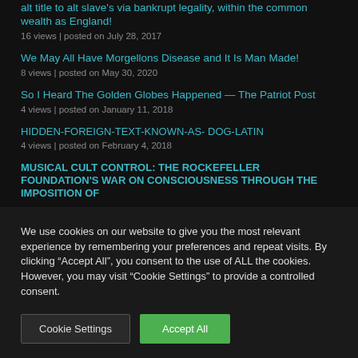alt title to alt slave's via bankrupt legality, within the common wealth as England!
16 views | posted on July 28, 2017
We May All Have Morgellons Disease and It Is Man Made!
8 views | posted on May 30, 2020
So I Heard The Golden Globes Happened — The Patriot Post
4 views | posted on January 11, 2018
HIDDEN-FOREIGN-TEXT-KNOWN-AS- DOG-LATIN
4 views | posted on February 4, 2018
MUSICAL CULT CONTROL: THE ROCKEFELLER FOUNDATION'S WAR ON CONSCIOUSNESS THROUGH THE IMPOSITION OF
We use cookies on our website to give you the most relevant experience by remembering your preferences and repeat visits. By clicking “Accept All”, you consent to the use of ALL the cookies. However, you may visit "Cookie Settings" to provide a controlled consent.